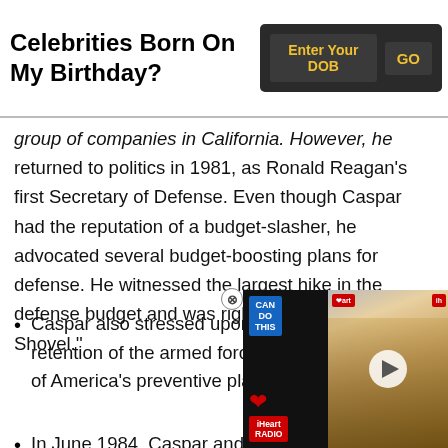Celebrities Born On My Birthday?
group of companies in California. However, he returned to politics in 1981, as Ronald Reagan's first Secretary of Defense. Even though Caspar had the reputation of a budget-slasher, he advocated several budget-boosting plans for defense. He witnessed the largest hike in the defense budget and was rightfully named "Cap the Shovel."
Caspar also stressed upon high recruitment and retention of the armed forces in the development of America's preventive plan, which Reagan...
In June 1984, Caspar and...
[Figure (screenshot): iHeart Radio video overlay showing a blonde celebrity on a red carpet, with CAN DO THIS text, iHeart Radio logo, and a play button]